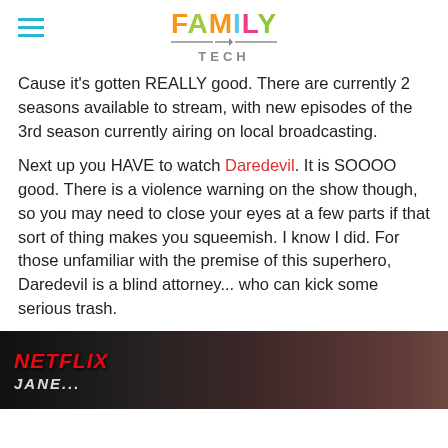FAMILY TECH
Cause it's gotten REALLY good.  There are currently 2 seasons available to stream, with new episodes of the 3rd season currently airing on local broadcasting.
Next up you HAVE to watch Daredevil.  It is SOOOO good.  There is a violence warning on the show though, so you may need to close your eyes at a few parts if that sort of thing makes you squeemish.  I know I did.  For those unfamiliar with the premise of this superhero, Daredevil is a blind attorney... who can kick some serious trash.
[Figure (photo): Netflix promotional image showing a person with Netflix logo text and partial title text at the bottom]